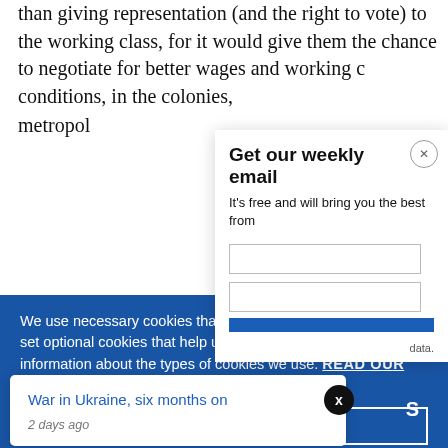than giving representation (and the right to vote) to the working class, for it would give them the chance to negotiate for better wages and working conditions, in the colonies, metropol...
We use necessary cookies that allow our site to work. We also set optional cookies that help us improve our website. For more information about the types of cookies we use. READ OUR COOKIES POLICY HERE
COOKIE
ALLOW
Get our weekly email
It's free and will bring you the best from
War in Ukraine, six months on
2 days ago
data.